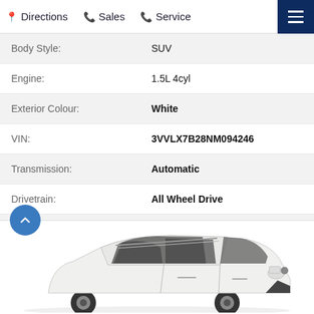Directions | Sales | Service
| Field | Value |
| --- | --- |
| Body Style: | SUV |
| Engine: | 1.5L 4cyl |
| Exterior Colour: | White |
| VIN: | 3VVLX7B28NM094246 |
| Transmission: | Automatic |
| Drivetrain: | All Wheel Drive |
| Stock #: | 62322OE9381483 |
| City: | Toronto |
[Figure (photo): White SUV (Volkswagen Taos or similar) shown in a 3/4 front view against a white background]